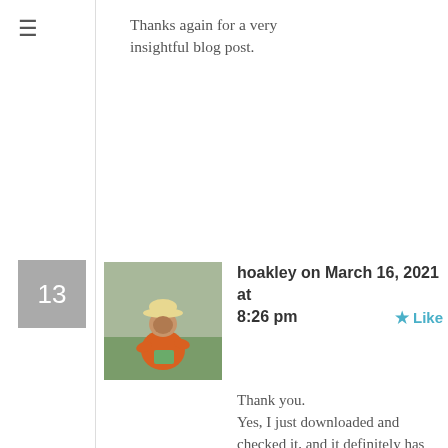Thanks again for a very insightful blog post.
hoakley on March 16, 2021 at 8:26 pm
Thank you.
Yes, I just downloaded and checked it, and it definitely has the corrected script, which downloads the blowhole Zip archive to /Applications, and not my Home folder.
The rule with pre-install scripts is that, if they don’t return 0, then the install will be cancelled. It’s as well that my incorrect first attempt did return 0, or there would have been no demo at all.